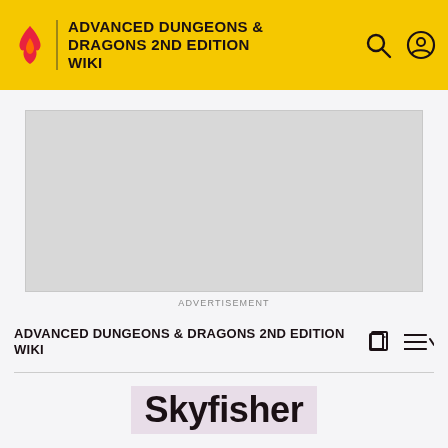ADVANCED DUNGEONS & DRAGONS 2ND EDITION WIKI
[Figure (other): Advertisement placeholder – grey rectangle]
ADVERTISEMENT
ADVANCED DUNGEONS & DRAGONS 2ND EDITION WIKI
Skyfisher